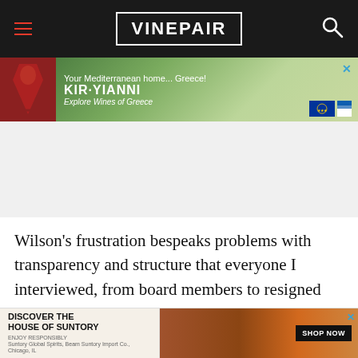VINEPAIR
[Figure (screenshot): Advertisement banner for KIR-YIANNI wines: 'Your Mediterranean home... Greece! KIR-YIANNI Explore Wines of Greece']
Wilson's frustration bespeaks problems with transparency and structure that everyone I interviewed, from board members to resigned MSs and outside observers, said are endemic to the Cour
[Figure (screenshot): Advertisement banner: 'DISCOVER THE HOUSE OF SUNTORY' with SHOP NOW button]